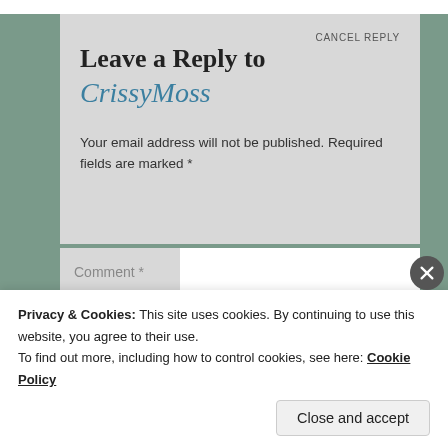Leave a Reply to CrissyMoss
CANCEL REPLY
Your email address will not be published. Required fields are marked *
Comment *
Privacy & Cookies: This site uses cookies. By continuing to use this website, you agree to their use.
To find out more, including how to control cookies, see here: Cookie Policy
Close and accept